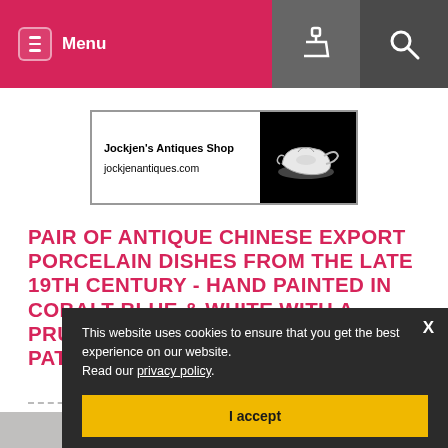Menu
[Figure (logo): Jockjen's Antiques Shop logo with text 'Jockjen's Antiques Shop' and 'jockjenantiques.com' and a gravy boat image on black background]
PAIR OF ANTIQUE CHINESE EXPORT PORCELAIN DISHES FROM THE LATE 19TH CENTURY - HAND PAINTED IN COBALT BLUE & WHITE WITH A PRUNUS BLOSSOM BRANCHES PATTERN
This website uses cookies to ensure that you get the best experience on our website. Read our privacy policy.
I accept
[Figure (photo): Partial view of antique Chinese export porcelain dish with cobalt blue and white prunus blossom design]